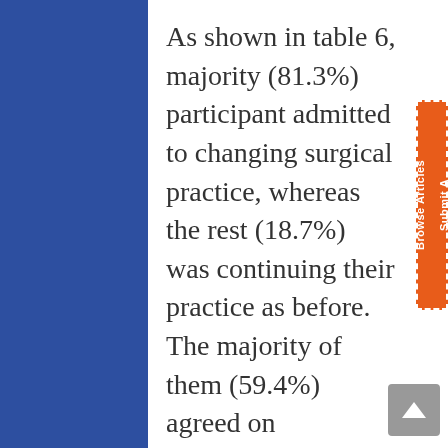As shown in table 6, majority (81.3%) participant admitted to changing surgical practice, whereas the rest (18.7%) was continuing their practice as before. The majority of them (59.4%) agreed on performing emergency